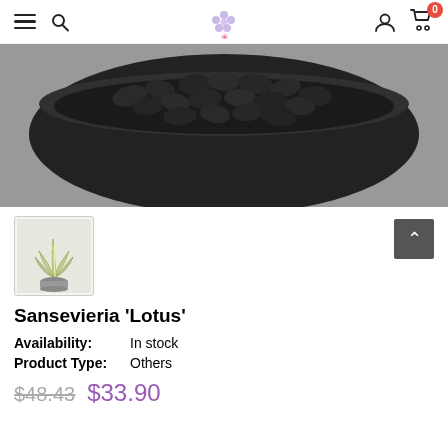Navigation bar with hamburger menu, search, logo, user icon, cart (0)
[Figure (photo): Top-down view of a dark/black round pot filled with small black pebbles/stones on a grey background]
[Figure (photo): Thumbnail of a Sansevieria 'Lotus' plant with pale green leaves in a small pot]
Sansevieria 'Lotus'
Availability:  In stock
Product Type:  Others
$48.43  $33.90